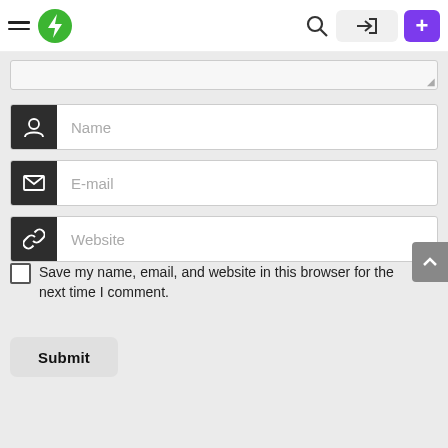[Figure (screenshot): Website navigation bar with hamburger menu, green lightning bolt logo, search icon, login button, and purple plus button]
[Figure (screenshot): Web comment form with textarea (partially visible), Name input field with user icon, E-mail input field with envelope icon, Website input field with link icon, a save checkbox, and a Submit button]